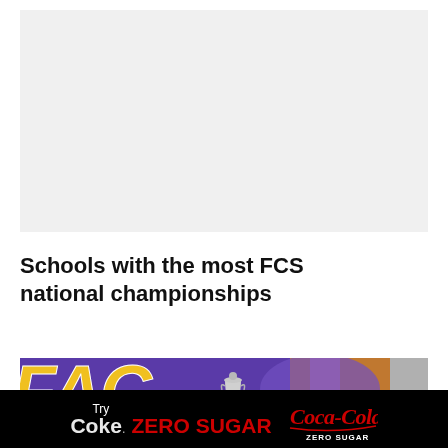[Figure (other): Light gray placeholder advertisement box at the top of the page]
Schools with the most FCS national championships
[Figure (photo): Photo of a purple football helmet with 'FAC' lettering in yellow/gold, a championship trophy visible in the center, and an orange background on the right side]
[Figure (other): Coca-Cola Zero Sugar advertisement banner: black background with white 'Try', red and white 'Coke. ZERO SUGAR' text, and Coca-Cola Zero Sugar logo on the right]